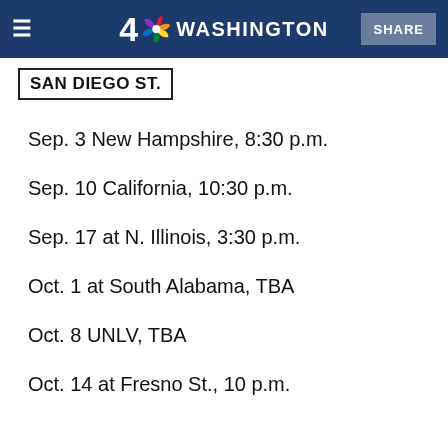4 NBC WASHINGTON  SHARE
SAN DIEGO ST.
Sep. 3 New Hampshire, 8:30 p.m.
Sep. 10 California, 10:30 p.m.
Sep. 17 at N. Illinois, 3:30 p.m.
Oct. 1 at South Alabama, TBA
Oct. 8 UNLV, TBA
Oct. 14 at Fresno St., 10 p.m.